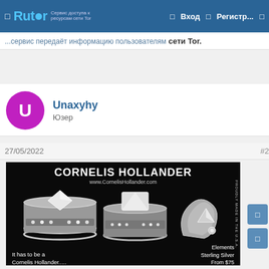Rutor | Вход | Регистр...
сети Tor.
Unaxyhy
Юзер
27/05/2022	#2
[Figure (photo): Cornelis Hollander jewelry advertisement on black background showing diamond rings and sterling silver jewelry. Text: CORNELIS HOLLANDER, www.CornelisHollander.com, It has to be a Cornelis Hollander....., Elements Sterling Silver From $75, PROUDLY MADE IN THE U.S.A.]